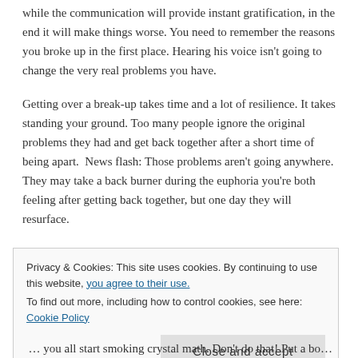while the communication will provide instant gratification, in the end it will make things worse. You need to remember the reasons you broke up in the first place. Hearing his voice isn't going to change the very real problems you have.
Getting over a break-up takes time and a lot of resilience. It takes standing your ground. Too many people ignore the original problems they had and get back together after a short time of being apart.  News flash: Those problems aren't going anywhere. They may take a back burner during the euphoria you're both feeling after getting back together, but one day they will resurface.
Here are the things that we all need in order to really get over a break-up and to move on.
Privacy & Cookies: This site uses cookies. By continuing to use this website, you agree to their use.
To find out more, including how to control cookies, see here: Cookie Policy
Close and accept
… you all start smoking crystal math. Don't do that! Put a bottle of